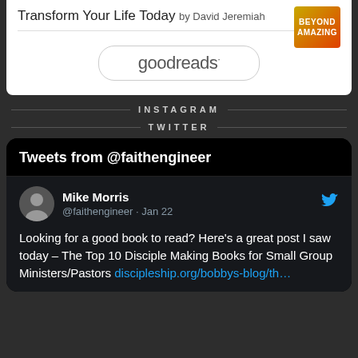Transform Your Life Today
by David Jeremiah
[Figure (logo): Goodreads logo button with rounded rectangle border]
INSTAGRAM
TWITTER
Tweets from @faithengineer
Mike Morris @faithengineer · Jan 22
Looking for a good book to read? Here's a great post I saw today – The Top 10 Disciple Making Books for Small Group Ministers/Pastors discipleship.org/bobbys-blog/th…